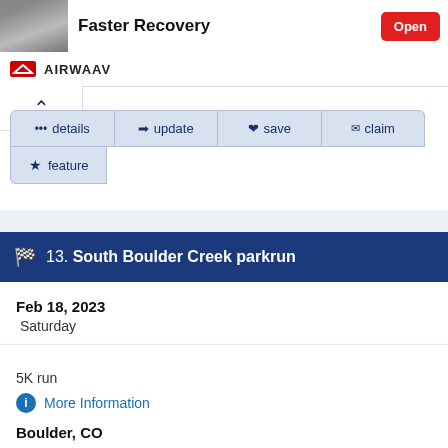[Figure (screenshot): App advertisement banner with person photo, 'Faster Recovery' title text and red Open button]
AIRWAAV
[Figure (screenshot): Navigation buttons: details, update, save, claim, feature]
13. South Boulder Creek parkrun
Feb 18, 2023
Saturday
5K run
More Information
Boulder, CO
City Location
31 miles point to point
Directions